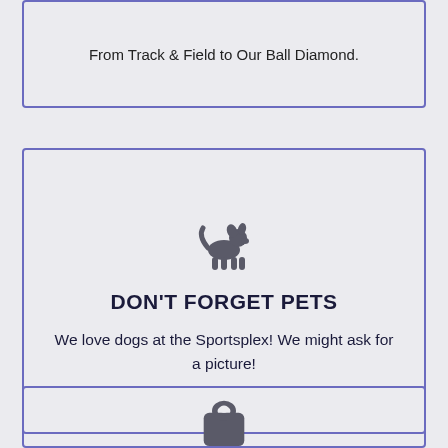From Track & Field to Our Ball Diamond.
[Figure (illustration): Dog silhouette icon in dark gray]
DON'T FORGET PETS
We love dogs at the Sportsplex! We might ask for a picture!
[Figure (illustration): Weight/heavy object icon in dark gray]